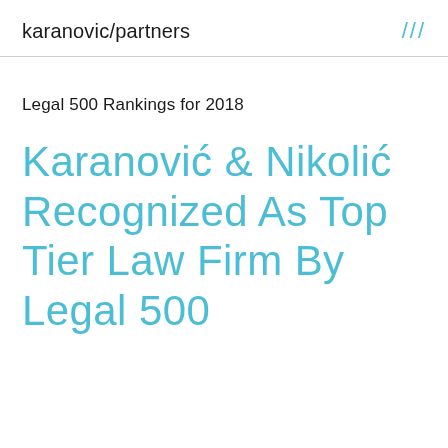karanovic/partners
Legal 500 Rankings for 2018
Karanović & Nikolić Recognized As Top Tier Law Firm By Legal 500